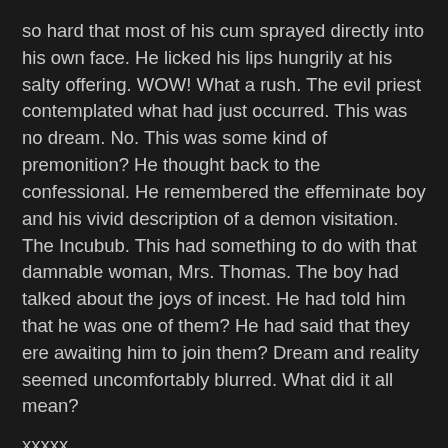so hard that most of his cum sprayed directly into his own face. He licked his lips hungrily at his salty offering. WOW! What a rush. The evil priest contemplated what had just occurred. This was no dream. No. This was some kind of premonition? He thought back to the confessional. He remembered the effeminate boy and his vivid description of a demon visitation. The Incubub. This had something to do with that damnable woman, Mrs. Thomas. The boy had talked about the joys of incest. He had told him that he was one of them? He had said that they ere awaiting him to join them? Dream and reality seemed uncomfortably blurred. What did it all mean?
xxxxx
Trinity looked coyly at her mother and her mother's friend. She did not like the Thomas' house. It was